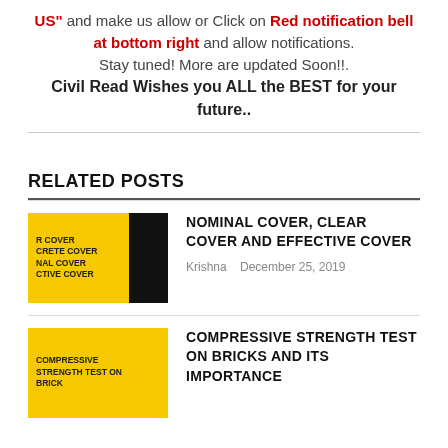US" and make us allow or Click on Red notification bell at bottom right and allow notifications. Stay tuned! More are updated Soon!!. Civil Read Wishes you ALL the BEST for your future..
RELATED POSTS
NOMINAL COVER, CLEAR COVER AND EFFECTIVE COVER
Krishna   December 25, 2019
COMPRESSIVE STRENGTH TEST ON BRICKS AND ITS IMPORTANCE